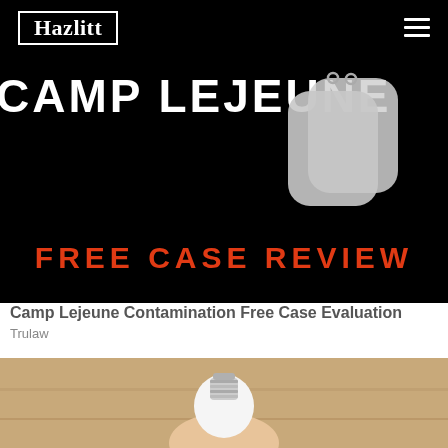Hazlitt
[Figure (photo): Advertisement banner with black background showing 'CAMP LEJEUNE' in large white bold text, dog tags in the center-right, and 'FREE CASE REVIEW' in large red bold text below]
Camp Lejeune Contamination Free Case Evaluation
Trulaw
[Figure (photo): Hand holding a white LED light bulb with metal screw base, against a wooden board background]